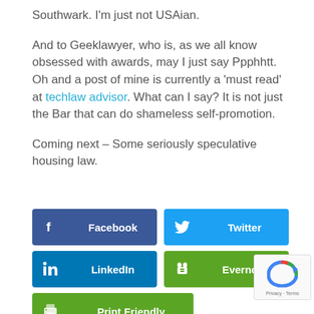Southwark. I'm just not USAian.
And to Geeklawyer, who is, as we all know obsessed with awards, may I just say Ppphhtt. Oh and a post of mine is currently a 'must read' at techlaw advisor. What can I say? It is not just the Bar that can do shameless self-promotion.
Coming next – Some seriously speculative housing law.
[Figure (other): Social sharing buttons: Facebook, Twitter, LinkedIn, Evernote, Print Friendly]